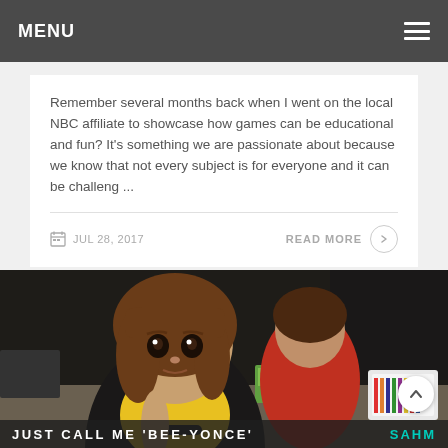MENU
Remember several months back when I went on the local NBC affiliate to showcase how games can be educational and fun? It's something we are passionate about because we know that not every subject is for everyone and it can be challeng ...
JUL 28, 2017
READ MORE
[Figure (photo): A young girl dressed in a yellow and black costume sitting at a table with crafts and art supplies. Another child is visible in background in a red costume. An adult stands in background. There is a basket of crayons on the table.]
JUST CALL ME 'BEE-YONCE'